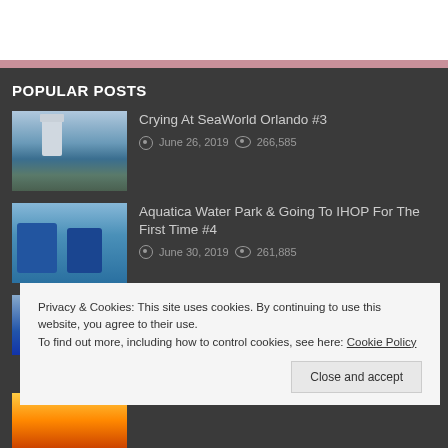POPULAR POSTS
Crying At SeaWorld Orlando #3 — June 26, 2019 — 266,585 views
Aquatica Water Park & Going To IHOP For The First Time #4 — June 30, 2019 — 261,885 views
Privacy & Cookies: This site uses cookies. By continuing to use this website, you agree to their use.
To find out more, including how to control cookies, see here: Cookie Policy
Close and accept